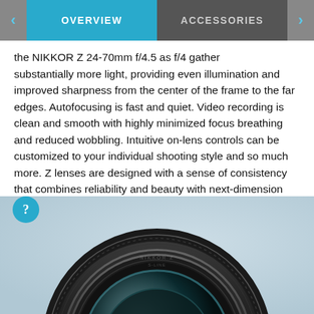OVERVIEW | ACCESSORIES
the NIKKOR Z 24-70mm f/4.5 as f/4 gather substantially more light, providing even illumination and improved sharpness from the center of the frame to the far edges. Autofocusing is fast and quiet. Video recording is clean and smooth with highly minimized focus breathing and reduced wobbling. Intuitive on-lens controls can be customized to your individual shooting style and so much more. Z lenses are designed with a sense of consistency that combines reliability and beauty with next-dimension optical performance for complete freedom in image creation.
[Figure (photo): Close-up photograph of a Nikon Z-series camera lens (NIKKOR Z), showing the front element and barrel details against a light blue-grey gradient background.]